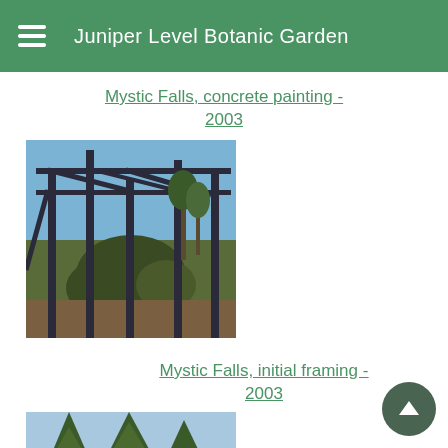Juniper Level Botanic Garden
Mystic Falls, concrete painting - 2003
[Figure (photo): Steel framing structure for Mystic Falls construction, 2003 - shows metal scaffolding/pergola frame with trees and shrubs visible behind it]
Mystic Falls, initial framing - 2003
[Figure (photo): Partial view of pine trees and rock/concrete at bottom of Mystic Falls construction site, 2003]